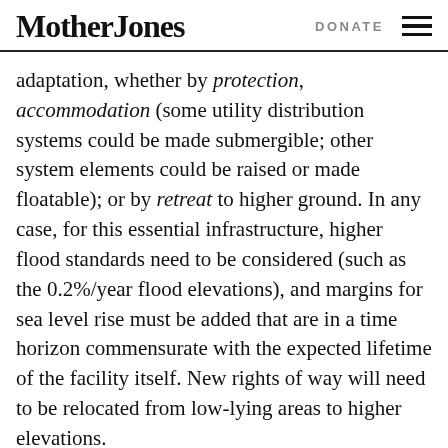Mother Jones   DONATE
adaptation, whether by protection, accommodation (some utility distribution systems could be made submergible; other system elements could be raised or made floatable); or by retreat to higher ground. In any case, for this essential infrastructure, higher flood standards need to be considered (such as the 0.2%/year flood elevations), and margins for sea level rise must be added that are in a time horizon commensurate with the expected lifetime of the facility itself. New rights of way will need to be relocated from low-lying areas to higher elevations.
These measures should be seen as an opportunity. The benefits of rebuilding more resiliently and at